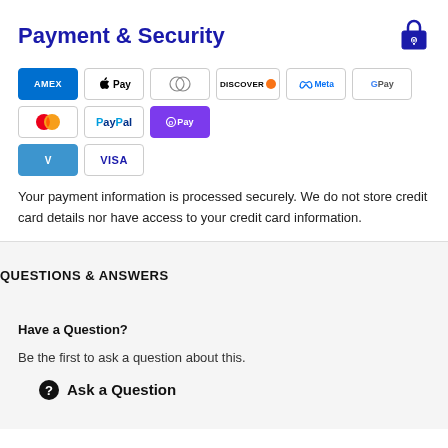Payment & Security
[Figure (illustration): Lock/security icon]
[Figure (illustration): Payment method badges: AMEX, Apple Pay, Diners Club, Discover, Meta, Google Pay, Mastercard, PayPal, OPay, Venmo, Visa]
Your payment information is processed securely. We do not store credit card details nor have access to your credit card information.
QUESTIONS & ANSWERS
Have a Question?
Be the first to ask a question about this.
Ask a Question